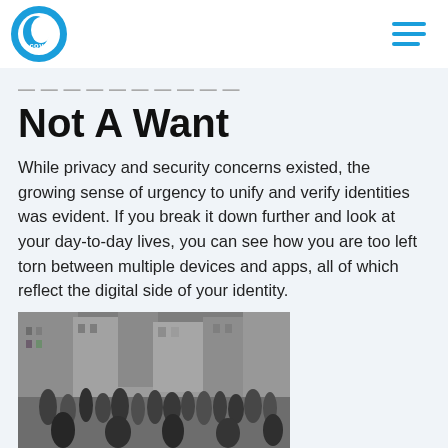cove
Not A Want
While privacy and security concerns existed, the growing sense of urgency to unify and verify identities was evident. If you break it down further and look at your day-to-day lives, you can see how you are too left torn between multiple devices and apps, all of which reflect the digital side of your identity.
[Figure (photo): Black and white photograph of a crowded urban street scene with many people and buildings]